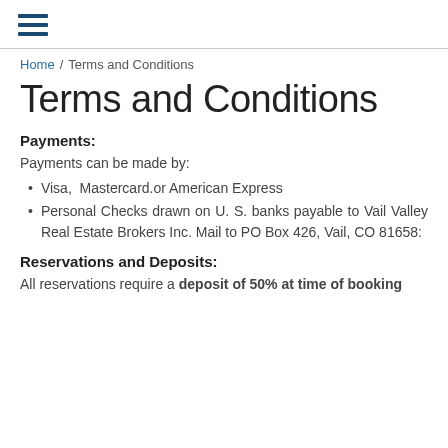☰
Home / Terms and Conditions
Terms and Conditions
Payments:
Payments can be made by:
Visa,  Mastercard.or American Express
Personal Checks drawn on U. S. banks payable to Vail Valley Real Estate Brokers Inc. Mail to PO Box 426, Vail, CO 81658:
Reservations and Deposits:
All reservations require a deposit of 50% at time of booking